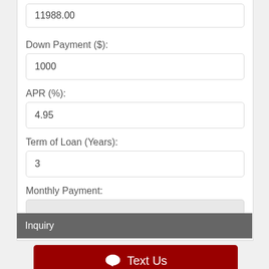11988.00
Down Payment ($):
1000
APR (%):
4.95
Term of Loan (Years):
3
Monthly Payment:
Inquiry
Text Us